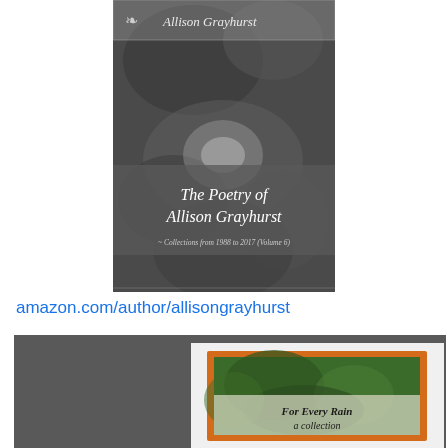[Figure (photo): Book cover of 'The Poetry of Allison Grayhurst - Collections from 1988 to 2017 (Volume 6)' shown in black and white with nature/rock background imagery and author name at top]
amazon.com/author/allisongrayhurst
[Figure (photo): Dark gray background with a partial view of another book cover 'For Every Rain a collection' shown in an orange frame with green nature background]